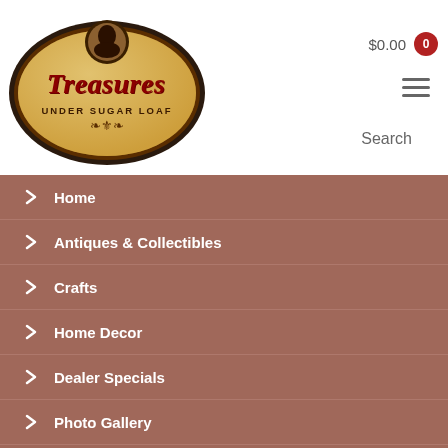[Figure (logo): Treasures Under Sugar Loaf store logo — gold/cream oval badge with dark brown border, script text 'Treasures' in dark red, subtitle 'UNDER SUGAR LOAF', small portrait illustration at top]
$0.00  0
Search
Home
Antiques & Collectibles
Crafts
Home Decor
Dealer Specials
Photo Gallery
Online Store